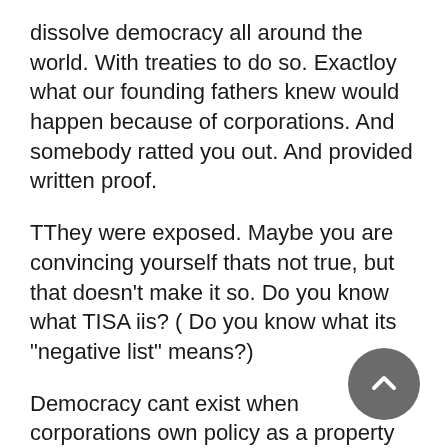dissolve democracy all around the world. With treaties to do so. Exactloy what our founding fathers knew would happen because of corporations. And somebody ratted you out. And provided written proof.
TThey were exposed. Maybe you are convincing yourself thats not true, but that doesn't make it so. Do you know what TISA iis? ( Do you know what its "negative list" means?)
Democracy cant exist when corporations own policy as a property right. It means that goivernment cant fix any problem if doing that reduces their profits. So for example, healthcare can never be fixed, unless we literally BUY our freedom at the cost in "expected lost profits" It means that there can never be a government thats democratic because that